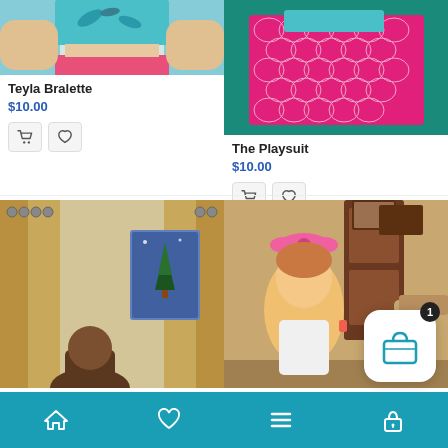[Figure (photo): Product photo of Teyla Bralette - woman wearing teal floral crop top with pink waistband]
Teyla Bralette
$10.00
[Figure (photo): Product photo of The Playsuit - pink mermaid scale patterned shorts/playsuit on teal background]
The Playsuit
$10.00
[Figure (photo): Child in front of curtains and Christmas painting]
[Figure (photo): Young girl with pink bow in hair in bedroom setting]
[Figure (infographic): Shopping cart badge overlay showing count of 1]
Home | Favorites | Menu | Account